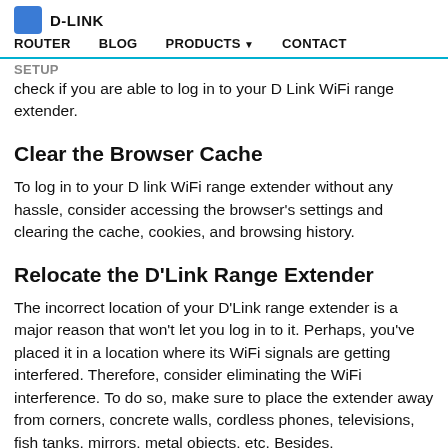D-LINK | ROUTER | BLOG | PRODUCTS | CONTACT | SETUP
check if you are able to log in to your D Link WiFi range extender.
Clear the Browser Cache
To log in to your D link WiFi range extender without any hassle, consider accessing the browser's settings and clearing the cache, cookies, and browsing history.
Relocate the D'Link Range Extender
The incorrect location of your D'Link range extender is a major reason that won't let you log in to it. Perhaps, you've placed it in a location where its WiFi signals are getting interfered. Therefore, consider eliminating the WiFi interference. To do so, make sure to place the extender away from corners, concrete walls, cordless phones, televisions, fish tanks, mirrors, metal objects, etc. Besides,